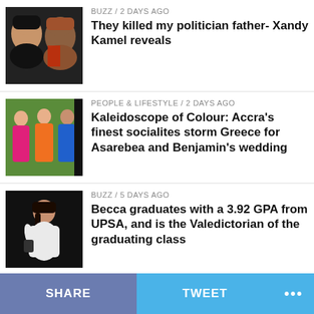BUZZ / 2 days ago — They killed my politician father- Xandy Kamel reveals
PEOPLE & LIFESTYLE / 2 days ago — Kaleidoscope of Colour: Accra's finest socialites storm Greece for Asarebea and Benjamin's wedding
BUZZ / 5 days ago — Becca graduates with a 3.92 GPA from UPSA, and is the Valedictorian of the graduating class
BUZZ / 1 day ago — Timaya's manager shot dead at a gas station in Atlanta
WORLD NEWS / ...
SHARE   TWEET   ...